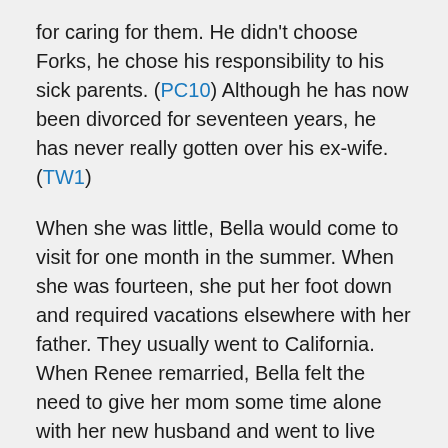for caring for them. He didn't choose Forks, he chose his responsibility to his sick parents. (PC10) Although he has now been divorced for seventeen years, he has never really gotten over his ex-wife. (TW1)
When she was little, Bella would come to visit for one month in the summer. When she was fourteen, she put her foot down and required vacations elsewhere with her father. They usually went to California. When Renee remarried, Bella felt the need to give her mom some time alone with her new husband and went to live with Charlie in Forks. Charlie did everything he could to make Bella feel at home, even buying her a car. (TW1)
After Bella disappears to Phoenix and comes back more than a little bruised, Charlie holds a slightly negative opinion of Edward, but it wasn't until he deserted Bella in September of 2005 that Charlie began to feel something close to hatred. (TWF... NM33) Charlie does his best to help Bella after...